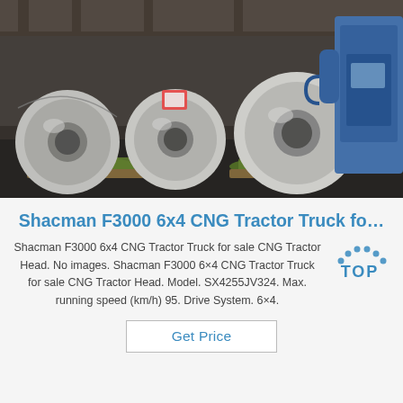[Figure (photo): Warehouse photo showing multiple large steel coils/rolls on a dark floor with green protective packaging and a blue industrial machine/crane on the right side.]
Shacman F3000 6x4 CNG Tractor Truck fo…
Shacman F3000 6x4 CNG Tractor Truck for sale CNG Tractor Head. No images. Shacman F3000 6×4 CNG Tractor Truck for sale CNG Tractor Head. Model. SX4255JV324. Max. running speed (km/h) 95. Drive System. 6×4.
[Figure (logo): TOP logo with dotted arc above the word TOP in blue]
Get Price